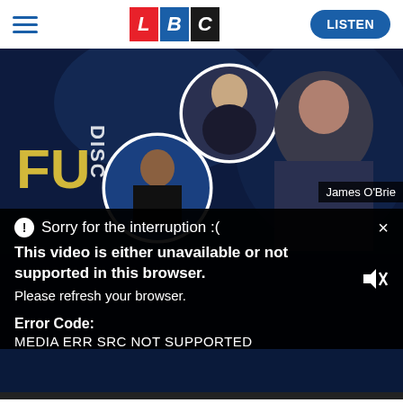[Figure (screenshot): LBC website header with hamburger menu, LBC logo (red L, blue B, black C tiles), and blue LISTEN button]
[Figure (screenshot): LBC video thumbnail showing political figures including Rishi Sunak and Liz Truss in circular overlays, and a man in a suit gesturing, with 'DISC...' and 'FU...' text visible. A video error overlay is shown with the message: Sorry for the interruption :( / This video is either unavailable or not supported in this browser. Please refresh your browser. / Error Code: MEDIA ERR SRC NOT SUPPORTED. James O'Brien label visible at right.]